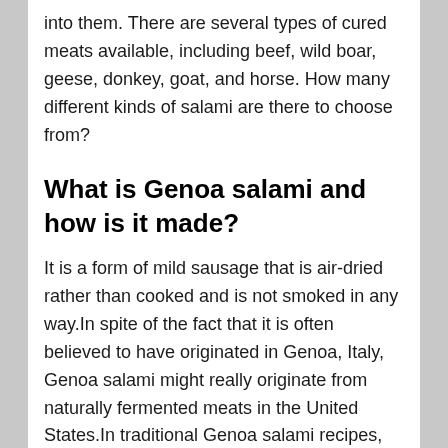into them. There are several types of cured meats available, including beef, wild boar, geese, donkey, goat, and horse. How many different kinds of salami are there to choose from?
What is Genoa salami and how is it made?
It is a form of mild sausage that is air-dried rather than cooked and is not smoked in any way.In spite of the fact that it is often believed to have originated in Genoa, Italy, Genoa salami might really originate from naturally fermented meats in the United States.In traditional Genoa salami recipes, pig and beef are combined with garlic, black and white pepper, and either white or red